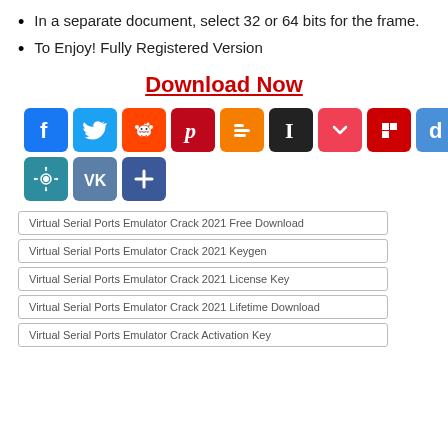In a separate document, select 32 or 64 bits for the frame.
To Enjoy! Fully Registered Version
Download Now
[Figure (infographic): Row of social sharing icons: Facebook (blue), Twitter (blue), Reddit (orange-red), Pinterest (red), Blogger (orange), Instapaper (black), Pocket (pink), Flipboard (red), Diigo (blue), and second row: virus/share (teal), VK (steel blue), Add/Plus (blue)]
Virtual Serial Ports Emulator Crack 2021 Free Download
Virtual Serial Ports Emulator Crack 2021 Keygen
Virtual Serial Ports Emulator Crack 2021 License Key
Virtual Serial Ports Emulator Crack 2021 Lifetime Download
Virtual Serial Ports Emulator Crack Activation Key